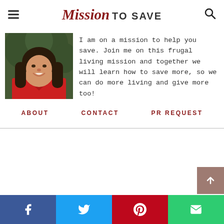Mission TO SAVE
[Figure (photo): Photo of a smiling woman with dark hair wearing a red top, shown from the shoulders up against a blurred green background]
I am on a mission to help you save. Join me on this frugal living mission and together we will learn how to save more, so we can do more living and give more too!
ABOUT
CONTACT
PR REQUEST